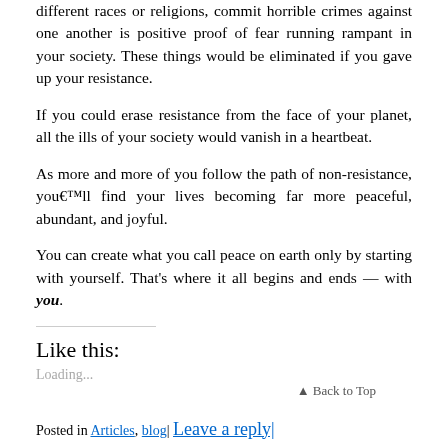different races or religions, commit horrible crimes against one another is positive proof of fear running rampant in your society. These things would be eliminated if you gave up your resistance.
If you could erase resistance from the face of your planet, all the ills of your society would vanish in a heartbeat.
As more and more of you follow the path of non-resistance, you’ll find your lives becoming far more peaceful, abundant, and joyful.
You can create what you call peace on earth only by starting with yourself. That’s where it all begins and ends — with you.
Like this:
Loading...
Back to Top
Posted in Articles, blog| Leave a reply|